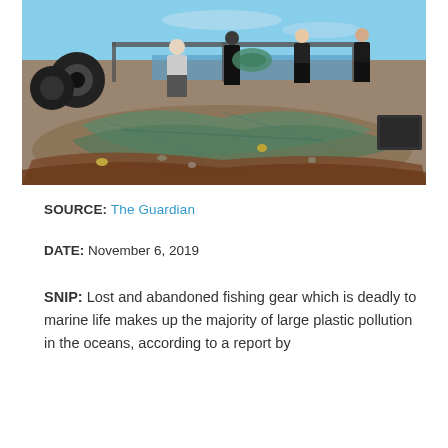[Figure (photo): Workers on a dock sorting through large piles of tangled fishing nets and debris with seaweed, ropes, and ocean refuse. Several people in dark clothing handle the nets. Tires and equipment visible on the dock. Ocean and shoreline visible in background under a blue sky.]
SOURCE: The Guardian
DATE: November 6, 2019
SNIP: Lost and abandoned fishing gear which is deadly to marine life makes up the majority of large plastic pollution in the oceans, according to a report by